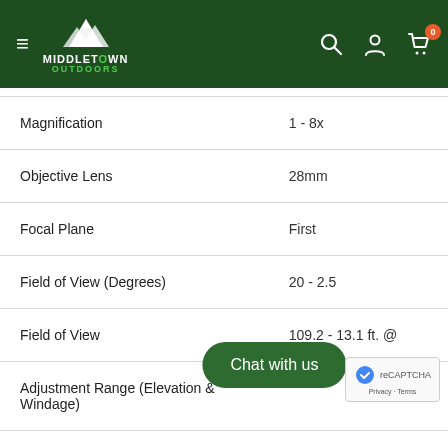Middletown Outdoors — Navigation header with logo, search, account, and cart icons
| Specification | Value |
| --- | --- |
| Magnification | 1 - 8x |
| Objective Lens | 28mm |
| Focal Plane | First |
| Field of View (Degrees) | 20 - 2.5 |
| Field of View | 109.2 - 13.1 ft. @ |
| Adjustment Range (Elevation & Windage) |  |